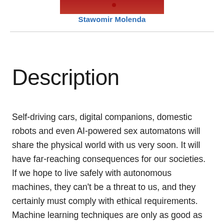[Figure (photo): Partial photo of a person in a red top, cropped at the top of the page]
Stawomir Molenda
Description
Self-driving cars, digital companions, domestic robots and even AI-powered sex automatons will share the physical world with us very soon. It will have far-reaching consequences for our societies. If we hope to live safely with autonomous machines, they can't be a threat to us, and they certainly must comply with ethical requirements. Machine learning techniques are only as good as the